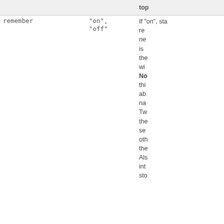|  |  | top |
| --- | --- | --- |
| remember | "on", "off" | If "on", state is remembered next is the with No: this about name Tw the se oth the Als int sto |